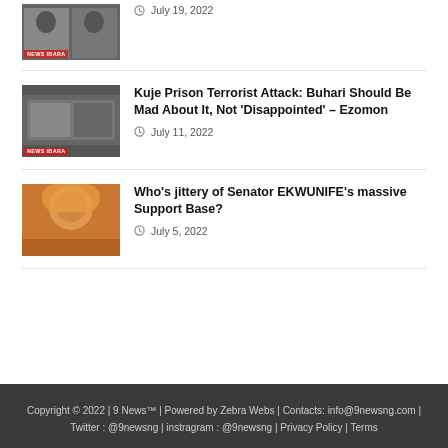[Figure (photo): Thumbnail of two men, news article image]
July 19, 2022
[Figure (photo): Thumbnail showing Kuje Prison article image]
Kuje Prison Terrorist Attack: Buhari Should Be Mad About It, Not ‘Disappointed’ – Ezomon
July 11, 2022
[Figure (photo): Thumbnail of a woman in yellow headwrap]
Who’s jittery of Senator EKWUNIFE’s massive Support Base?
July 5, 2022
Copyright © 2022 | 9 News™ | Powered by Zebra Webs | Contacts: info@9newsng.com | Twitter : @9newsng | instragram : @9newsng | Privacy Policy | Terms